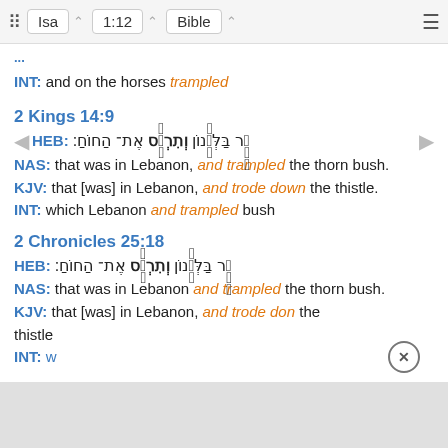Isa  1:12  Bible
INT: and on the horses trampled
2 Kings 14:9
HEB: אָ֤ר בַּלְּבָ֔נוֹן וְתִרְמֹ֖ס אֶת־ הַחוֹחַ:
NAS: that was in Lebanon, and trampled the thorn bush.
KJV: that [was] in Lebanon, and trode down the thistle.
INT: which Lebanon and trampled bush
2 Chronicles 25:18
HEB: אָ֤ר בַּלְּבָ֔נוֹן וְתִרְמֹ֖ס אֶת־ הַחוֹחַ:
NAS: that was in Lebanon and trampled the thorn bush.
KJV: that [was] in Lebanon, and trode down the thistle
INT: w